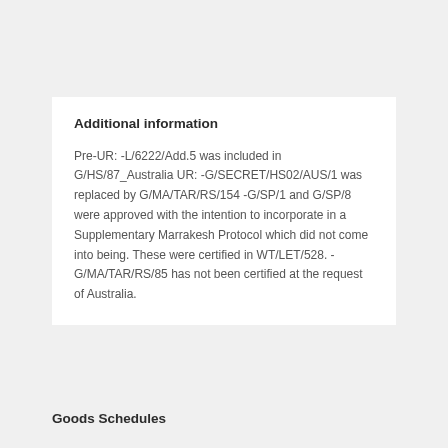Additional information
Pre-UR: -L/6222/Add.5 was included in G/HS/87_Australia UR: -G/SECRET/HS02/AUS/1 was replaced by G/MA/TAR/RS/154 -G/SP/1 and G/SP/8 were approved with the intention to incorporate in a Supplementary Marrakesh Protocol which did not come into being. These were certified in WT/LET/528. -G/MA/TAR/RS/85 has not been certified at the request of Australia.
Goods Schedules